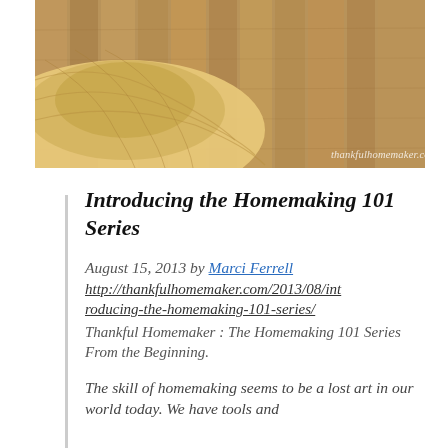[Figure (photo): Straw hat resting on wooden planks background with watermark thankfulhomemaker.com]
Introducing the Homemaking 101 Series
August 15, 2013 by Marci Ferrell
http://thankfulhomemaker.com/2013/08/introducing-the-homemaking-101-series/
Thankful Homemaker : The Homemaking 101 Series
From the Beginning.
The skill of homemaking seems to be a lost art in our world today. We have tools and